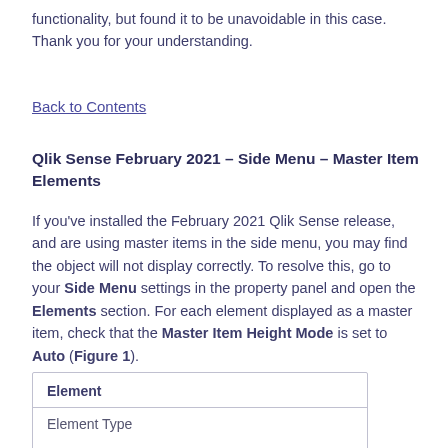functionality, but found it to be unavoidable in this case. Thank you for your understanding.
Back to Contents
Qlik Sense February 2021 – Side Menu – Master Item Elements
If you've installed the February 2021 Qlik Sense release, and are using master items in the side menu, you may find the object will not display correctly. To resolve this, go to your Side Menu settings in the property panel and open the Elements section. For each element displayed as a master item, check that the Master Item Height Mode is set to Auto (Figure 1).
| Element |
| --- |
| Element Type |